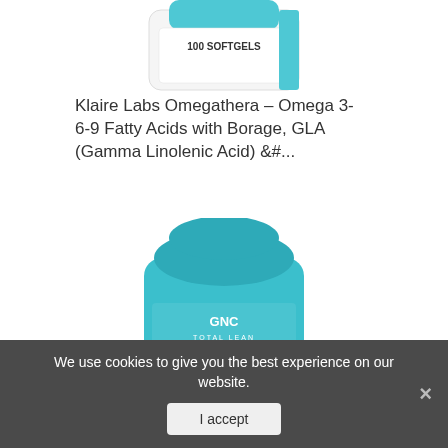[Figure (photo): Top portion of a white supplement bottle labeled '100 SOFTGELS', partially cropped at the top of the page.]
Klaire Labs Omegathera – Omega 3-6-9 Fatty Acids with Borage, GLA (Gamma Linolenic Acid) &#...
[Figure (photo): GNC Total Lean Thermo CLA dietary supplement bottle in teal/turquoise color, showing the label with 'GNC TOTAL LEAN THERMO CLA DIETARY SUPPLEMENT'.]
We use cookies to give you the best experience on our website.
I accept